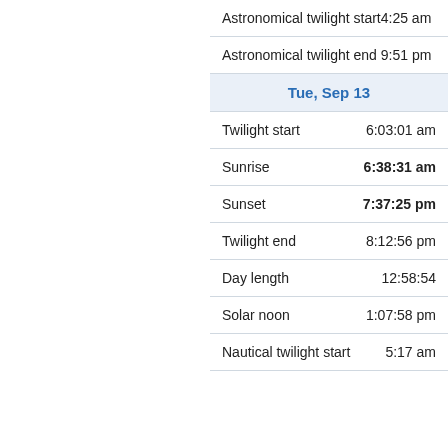| Astronomical twilight start | 4:25 am |
| Astronomical twilight end | 9:51 pm |
| Tue, Sep 13 |  |
| Twilight start | 6:03:01 am |
| Sunrise | 6:38:31 am |
| Sunset | 7:37:25 pm |
| Twilight end | 8:12:56 pm |
| Day length | 12:58:54 |
| Solar noon | 1:07:58 pm |
| Nautical twilight start | 5:17 am |